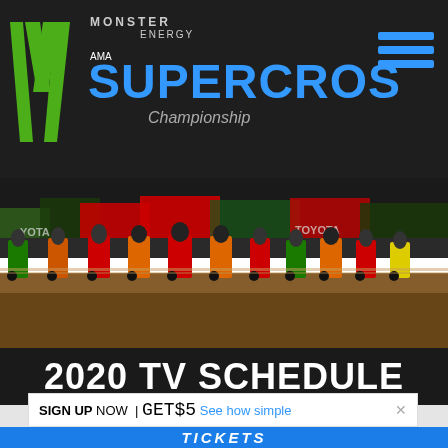Monster Energy AMA Supercross Championship
[Figure (photo): Motocross racers lined up at the start gate on a dirt track with riders on various colored bikes, Toyota banners visible in background]
2020 TV SCHEDULE
SIGN UP NOW | GET $5 See how simple
TICKETS